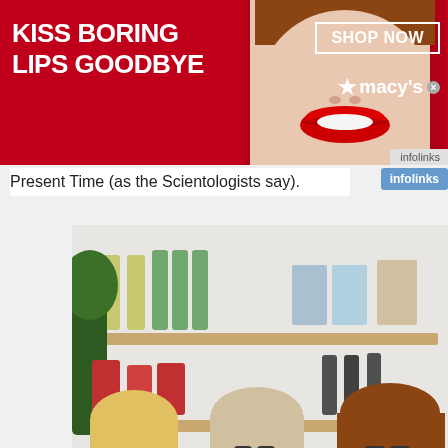[Figure (photo): Macy's advertisement banner: red background with white text 'KISS BORING LIPS GOODBYE', woman's face with red lips in center, 'SHOP NOW' button in white border box, star Macy's logo, infolinks badge]
Present Time (as the Scientologists say).
[Figure (photo): Three women in a shop/store setting eating ice cream or food from wooden spoons/cones. Shelves with bottles and products visible in background. Infolinks badge in lower left corner.]
[Figure (photo): Nike advertisement: 'Nike. Just Do It' title in blue bold text, 'Inspiring the world's athletes, Nike delivers the deals', 'www.nike.com' in green, small thumbnail image on left, circular next button on right, X close button]